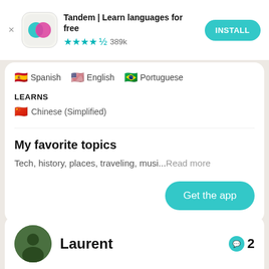[Figure (screenshot): Tandem app advertisement banner with app icon (teal and pink speech bubbles), app title, star rating, and Install button]
Spanish  English  Portuguese
LEARNS
Chinese (Simplified)
My favorite topics
Tech, history, places, traveling, musi...Read more
Get the app
Laurent  2